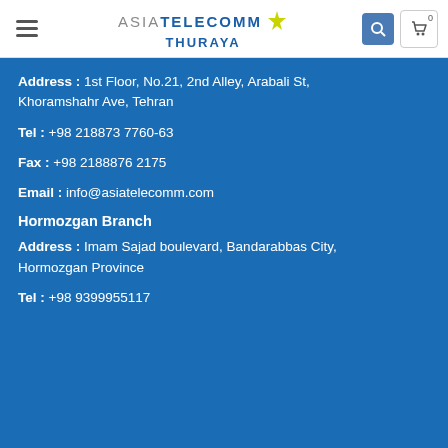ASIA TELECOMM THURAYA
Address : 1st Floor, No.21, 2nd Alley, Arabali St, Khoramshahr Ave, Tehran
Tel : +98 218873 7760-63
Fax : +98 2188876 2175
Email : info@asiatelecomm.com
Hormozgan Branch
Address : Imam Sajad boulevard, Bandarabbas City, Hormozgan Province
Tel : +98 9399955117